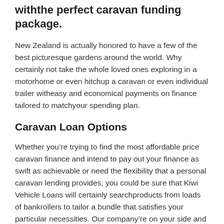withthe perfect caravan funding package.
New Zealand is actually honored to have a few of the best picturesque gardens around the world. Why certainly not take the whole loved ones exploring in a motorhome or even hitchup a caravan or even individual trailer witheasy and economical payments on finance tailored to matchyour spending plan.
Caravan Loan Options
Whether you’re trying to find the most affordable price caravan finance and intend to pay out your finance as swift as achievable or need the flexibility that a personal caravan lending provides, you could be sure that Kiwi Vehicle Loans will certainly searchproducts from loads of bankrollers to tailor a bundle that satisfies your particular necessities. Our company’re on your side and also talk to the sponsors in